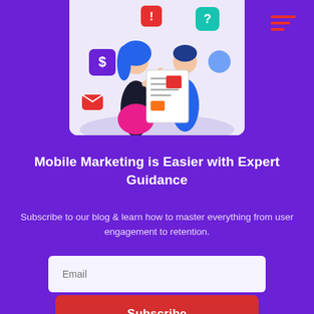[Figure (illustration): Two people (a woman with blue hair and a man) holding a newspaper/document with marketing icons around them including a dollar sign, exclamation mark, question mark, email icon, and location pin. Illustrated in a flat design style on a light purple/lavender background.]
Mobile Marketing is Easier with Expert Guidance
Subscribe to our blog & learn how to master everything from user engagement to retention.
Email
Subscribe